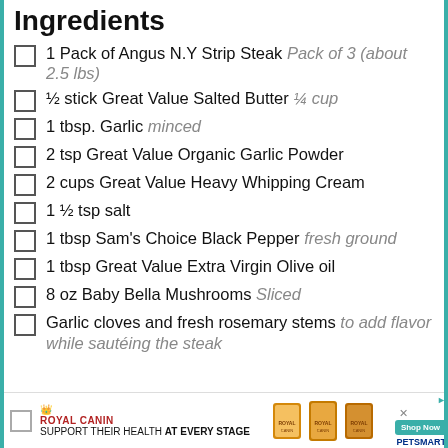Ingredients
1 Pack of Angus N.Y Strip Steak Pack of 3 (about 2.5 lbs)
½ stick Great Value Salted Butter ¼ cup
1 tbsp. Garlic minced
2 tsp Great Value Organic Garlic Powder
2 cups Great Value Heavy Whipping Cream
1 ½ tsp salt
1 tbsp Sam's Choice Black Pepper fresh ground
1 tbsp Great Value Extra Virgin Olive oil
8 oz Baby Bella Mushrooms Sliced
Garlic cloves and fresh rosemary stems to add flavor while sautéing the steak
[Figure (infographic): Royal Canin advertisement banner: Support Their Health At Every Stage, with pet food bags image and Shop Now button linking to PetSmart]